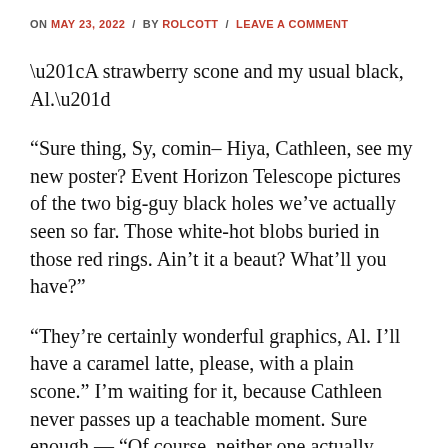ON MAY 23, 2022 / BY ROLCOTT / LEAVE A COMMENT
“A strawberry scone and my usual black, Al.”
“Sure thing, Sy, comin– Hiya, Cathleen, see my new poster? Event Horizon Telescope pictures of the two big-guy black holes we’ve actually seen so far. Those white-hot blobs buried in those red rings. Ain’t it a beaut? What’ll you have?”
“They’re certainly wonderful graphics, Al. I’ll have a caramel latte, please, with a plain scone.” I’m waiting for it, because Cathleen never passes up a teachable moment. Sure enough — “Of course, neither one actually looks like that or represents